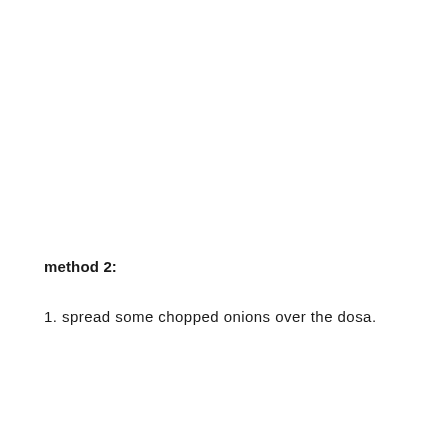method 2:
1. spread some chopped onions over the dosa.